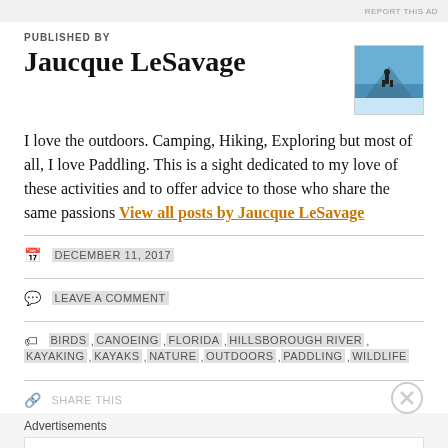REPORT THIS AD
PUBLISHED BY
Jaucque LeSavage
[Figure (photo): Author thumbnail photo showing a person on a snowy blue landscape]
I love the outdoors. Camping, Hiking, Exploring but most of all, I love Paddling. This is a sight dedicated to my love of these activities and to offer advice to those who share the same passions View all posts by Jaucque LeSavage
DECEMBER 11, 2017
LEAVE A COMMENT
BIRDS , CANOEING , FLORIDA , HILLSBOROUGH RIVER , KAYAKING , KAYAKS , NATURE , OUTDOORS , PADDLING , WILDLIFE
SHARE THIS
Advertisements
AUTOMATTIC
Build a better web and a better world.
REPORT THIS AD